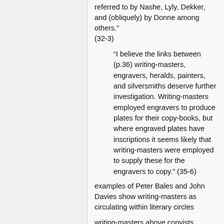referred to by Nashe, Lyly, Dekker, and (obliquely) by Donne among others." (32-3)
"I believe the links between (p.36) writing-masters, engravers, heralds, painters, and silversmiths deserve further investigation. Writing-masters employed engravers to produce plates for their copy-books, but where engraved plates have inscriptions it seems likely that writing-masters were employed to supply these for the engravers to copy." (35-6)
examples of Peter Bales and John Davies show writing-masters as circulating within literary circles
writing-masters above copyists
"stationers and booksellers dealt in